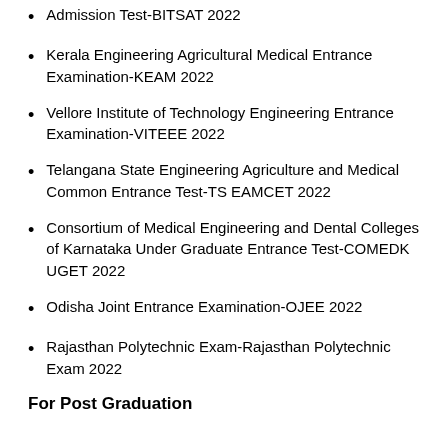Admission Test-BITSAT 2022
Kerala Engineering Agricultural Medical Entrance Examination-KEAM 2022
Vellore Institute of Technology Engineering Entrance Examination-VITEEE 2022
Telangana State Engineering Agriculture and Medical Common Entrance Test-TS EAMCET 2022
Consortium of Medical Engineering and Dental Colleges of Karnataka Under Graduate Entrance Test-COMEDK UGET 2022
Odisha Joint Entrance Examination-OJEE 2022
Rajasthan Polytechnic Exam-Rajasthan Polytechnic Exam 2022
For Post Graduation